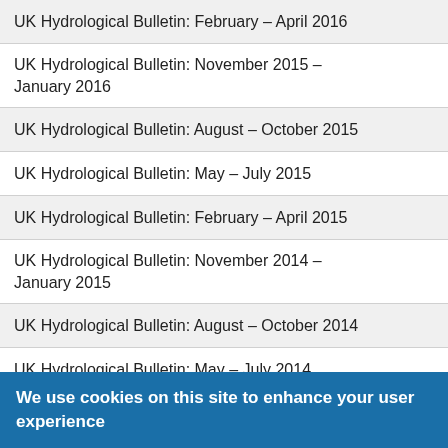|  |  |
| --- | --- |
| UK Hydrological Bulletin: February – April 2016 (partial) | View |
| UK Hydrological Bulletin: November 2015 – January 2016 | View |
| UK Hydrological Bulletin: August – October 2015 | View |
| UK Hydrological Bulletin: May – July 2015 | View |
| UK Hydrological Bulletin: February – April 2015 | View |
| UK Hydrological Bulletin: November 2014 – January 2015 | View |
| UK Hydrological Bulletin: August – October 2014 | View |
| UK Hydrological Bulletin: May – July 2014 | View |
| UK Hydrological Bulletin: February – April 2014 | View |
| UK Hydrological Bulletin: November 2013 – January 2014 | View |
We use cookies on this site to enhance your user experience